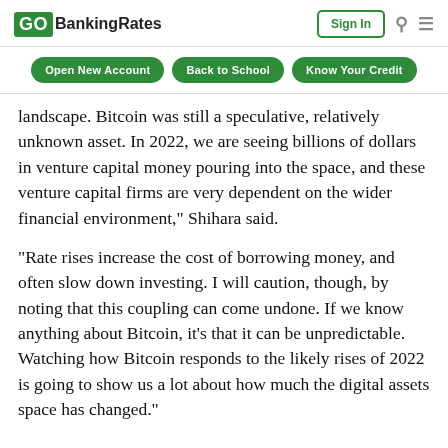GOBankingRates | Sign In
Open New Account | Back to School | Know Your Credit
landscape. Bitcoin was still a speculative, relatively unknown asset. In 2022, we are seeing billions of dollars in venture capital money pouring into the space, and these venture capital firms are very dependent on the wider financial environment," Shihara said.
“Rate rises increase the cost of borrowing money, and often slow down investing. I will caution, though, by noting that this coupling can come undone. If we know anything about Bitcoin, it’s that it can be unpredictable. Watching how Bitcoin responds to the likely rises of 2022 is going to show us a lot about how much the digital assets space has changed.”
Building Wealth